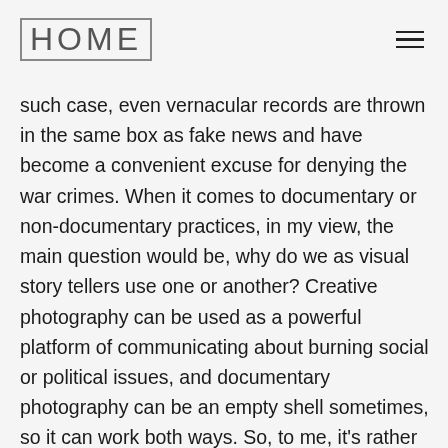HOME
such case, even vernacular records are thrown in the same box as fake news and have become a convenient excuse for denying the war crimes. When it comes to documentary or non-documentary practices, in my view, the main question would be, why do we as visual story tellers use one or another? Creative photography can be used as a powerful platform of communicating about burning social or political issues, and documentary photography can be an empty shell sometimes, so it can work both ways. So, to me, it's rather a question of how to use the images, and for what purposes are we using these various visual strategies? I'm personally using mostly a documentary language to communicate about the contemporary